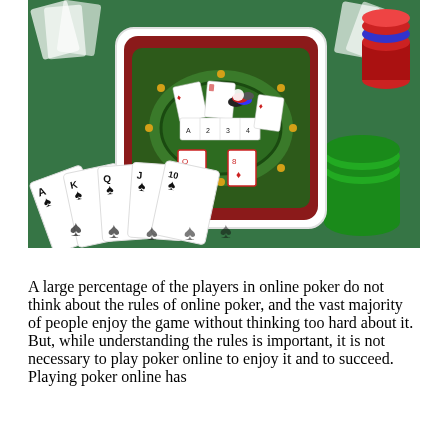[Figure (photo): A photo of a green felt poker table with playing cards (A, K, Q, J, 10 of spades) in the foreground, poker chips stacked on the right, and a mobile phone lying flat displaying a digital online poker game interface with a virtual poker table, cards, and chips.]
A large percentage of the players in online poker do not think about the rules of online poker, and the vast majority of people enjoy the game without thinking too hard about it. But, while understanding the rules is important, it is not necessary to play poker online to enjoy it and to succeed. Playing poker online has